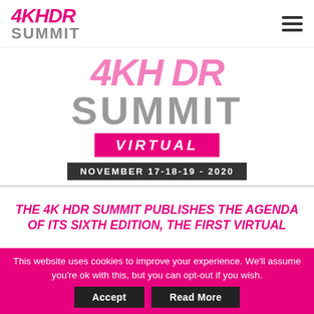4KHDR SUMMIT
[Figure (logo): 4K HDR SUMMIT logo with pink italic text and grey SUMMIT text, plus hamburger menu icon]
4KH DR SUMMIT VIRTUAL NOVEMBER 17-18-19 - 2020
THE 4K HDR SUMMIT PUBLISHES THE AGENDA OF ITS SIXTH EDITION, THE FIRST VIRTUAL
This website uses cookies to improve your experience. We'll assume you're ok with this, but you can opt-out if you wish.